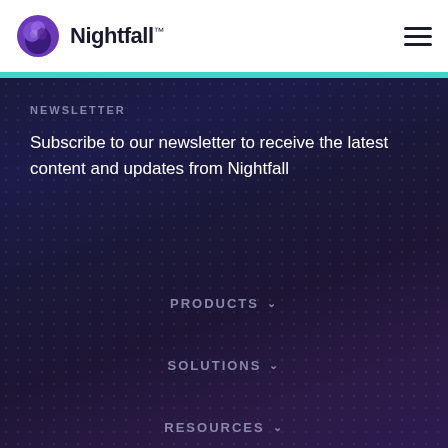Nightfall™
NEWSLETTER
Subscribe to our newsletter to receive the latest content and updates from Nightfall
PRODUCTS
SOLUTIONS
RESOURCES
COMPANY